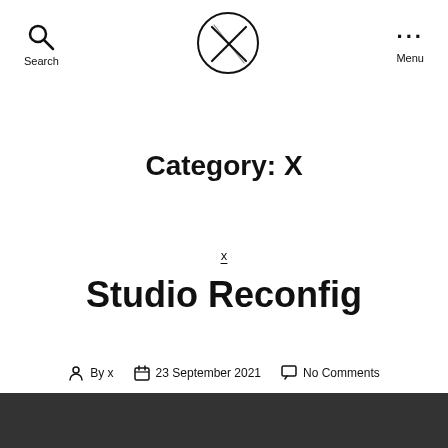Search  [logo: X in circle]  Menu
Category: X
x
Studio Reconfig
By x  23 September 2021  No Comments